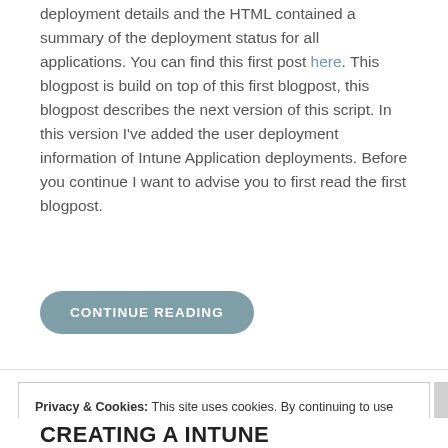deployment details and the HTML contained a summary of the deployment status for all applications. You can find this first post here. This blogpost is build on top of this first blogpost, this blogpost describes the next version of this script. In this version I've added the user deployment information of Intune Application deployments. Before you continue I want to advise you to first read the first blogpost.
CONTINUE READING
Privacy & Cookies: This site uses cookies. By continuing to use this website, you agree to their use.
To find out more, including how to control cookies, see here: Cookie Policy
Close and accept
CREATING A INTUNE